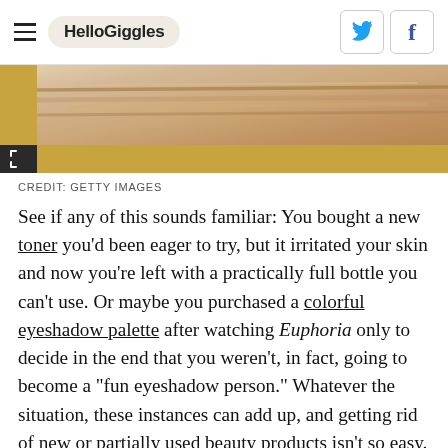HelloGiggles
[Figure (photo): Close-up image of makeup brushes or tweezers on a golden/tan background, partially cropped at top]
CREDIT: GETTY IMAGES
See if any of this sounds familiar: You bought a new toner you'd been eager to try, but it irritated your skin and now you're left with a practically full bottle you can't use. Or maybe you purchased a colorful eyeshadow palette after watching Euphoria only to decide in the end that you weren't, in fact, going to become a "fun eyeshadow person." Whatever the situation, these instances can add up, and getting rid of new or partially used beauty products isn't so easy. Unfortunately, throwing them out can be both